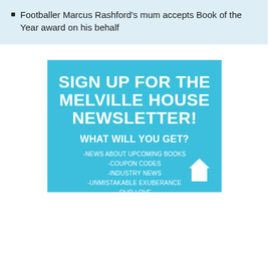Footballer Marcus Rashford's mum accepts Book of the Year award on his behalf
[Figure (infographic): Light blue promotional banner for Melville House newsletter sign-up. Large bold white text reads 'SIGN UP FOR THE MELVILLE HOUSE NEWSLETTER!' followed by 'WHAT WILL YOU GET?' and bullet items: NEWS ABOUT UPCOMING BOOKS, COUPON CODES, INDUSTRY NEWS, UNMISTAKABLE EXUBERANCE, OUR LOVE. A white house icon appears bottom-right.]